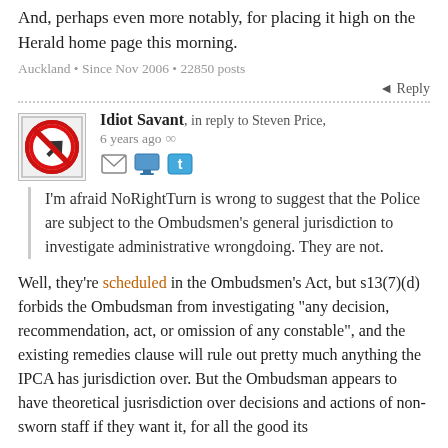And, perhaps even more notably, for placing it high on the Herald home page this morning.
Auckland • Since Nov 2006 • 22850 posts
Reply
[Figure (logo): Avatar icon: No Right Turn sign - a red circle with a right-turn arrow crossed out, in a square frame]
Idiot Savant, in reply to Steven Price, 6 years ago ∞
I'm afraid NoRightTurn is wrong to suggest that the Police are subject to the Ombudsmen's general jurisdiction to investigate administrative wrongdoing. They are not.
Well, they're scheduled in the Ombudsmen's Act, but s13(7)(d) forbids the Ombudsman from investigating "any decision, recommendation, act, or omission of any constable", and the existing remedies clause will rule out pretty much anything the IPCA has jurisdiction over. But the Ombudsman appears to have theoretical jusrisdiction over decisions and actions of non-sworn staff if they want it, for all the good its